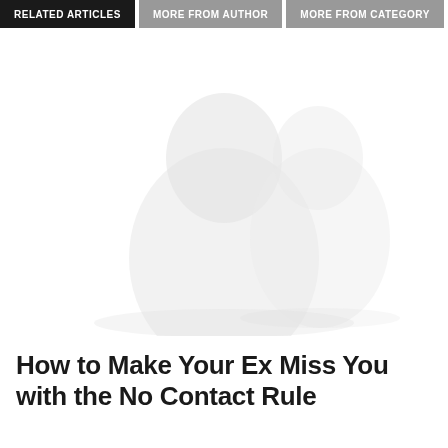RELATED ARTICLES | MORE FROM AUTHOR | MORE FROM CATEGORY
[Figure (photo): Faded/washed-out photo of a person, very light and nearly white, serving as an article thumbnail image]
How to Make Your Ex Miss You with the No Contact Rule